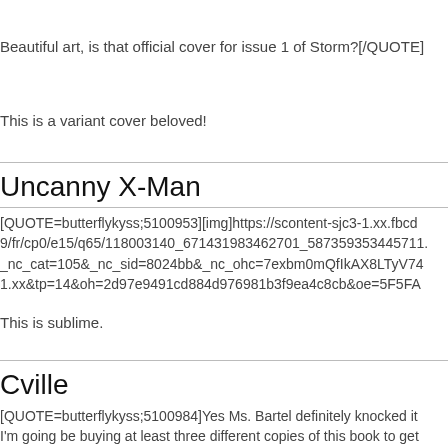Beautiful art, is that official cover for issue 1 of Storm?[/QUOTE]
This is a variant cover beloved!
Uncanny X-Man
[QUOTE=butterflykyss;5100953][img]https://scontent-sjc3-1.xx.fbcd9/fr/cp0/e15/q65/118003140_671431983462701_587359353445711_nc_cat=105&_nc_sid=8024bb&_nc_ohc=7exbm0mQfIkAX8LTyV74.1.xx&tp=14&oh=2d97e9491cd884d976981b3f9ea4c8cb&oe=5F5FA
This is sublime.
Cville
[QUOTE=butterflykyss;5100984]Yes Ms. Bartel definitely knocked it I'm going be buying at least three different copies of this book to get as well as Alex Ross and Jen Bartel's covers!